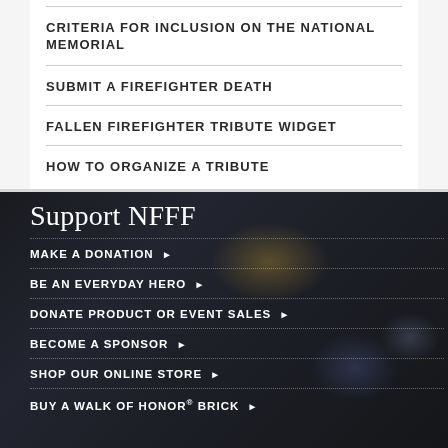CRITERIA FOR INCLUSION ON THE NATIONAL MEMORIAL
SUBMIT A FIREFIGHTER DEATH
FALLEN FIREFIGHTER TRIBUTE WIDGET
HOW TO ORGANIZE A TRIBUTE
Support NFFF
MAKE A DONATION ▶
BE AN EVERYDAY HERO ▶
DONATE PRODUCT OR EVENT SALES ▶
BECOME A SPONSOR ▶
SHOP OUR ONLINE STORE ▶
BUY A WALK OF HONOR® BRICK ▶